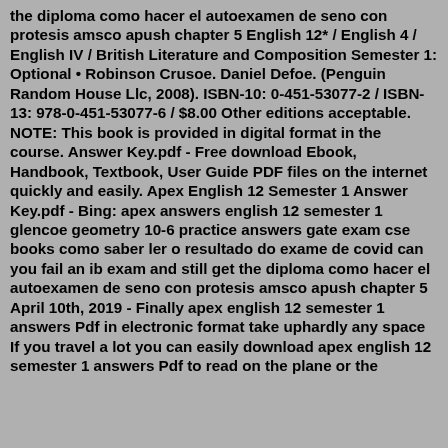the diploma como hacer el autoexamen de seno con protesis amsco apush chapter 5 English 12* / English 4 / English IV / British Literature and Composition Semester 1: Optional • Robinson Crusoe. Daniel Defoe. (Penguin Random House Llc, 2008). ISBN-10: 0-451-53077-2 / ISBN-13: 978-0-451-53077-6 / $8.00 Other editions acceptable. NOTE: This book is provided in digital format in the course. Answer Key.pdf - Free download Ebook, Handbook, Textbook, User Guide PDF files on the internet quickly and easily. Apex English 12 Semester 1 Answer Key.pdf - Bing: apex answers english 12 semester 1 glencoe geometry 10-6 practice answers gate exam cse books como saber ler o resultado do exame de covid can you fail an ib exam and still get the diploma como hacer el autoexamen de seno con protesis amsco apush chapter 5 April 10th, 2019 - Finally apex english 12 semester 1 answers Pdf in electronic format take uphardly any space If you travel a lot you can easily download apex english 12 semester 1 answers Pdf to read on the plane or the